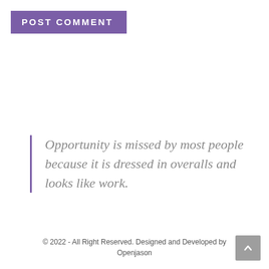POST COMMENT
Opportunity is missed by most people because it is dressed in overalls and looks like work.
© 2022 - All Right Reserved. Designed and Developed by Openjason